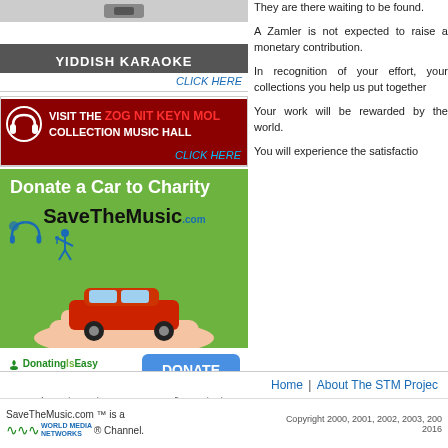[Figure (screenshot): Yiddish Karaoke banner with dark gray background and CLICK HERE link]
[Figure (screenshot): Visit the ZOG NIT KEYN MOL Collection Music Hall banner with headphones image and CLICK HERE link]
[Figure (illustration): Donate a Car to Charity - SaveTheMusic.com advertisement with green background, car on hand image, DonatingIsEasy logo and DONATE button. SaveTheMusic.com is a 501c-3 non-profit organization.]
They are there waiting to be found.
A Zamler is not expected to raise a monetary contribution.
In recognition of your effort, your collections you help us put together
Your work will be rewarded by the world.
You will experience the satisfaction
Home | About The STM Projec
SaveTheMusic.com ™ is a WORLD MEDIA NETWORKS ® Channel. Copyright 2000, 2001, 2002, 2003, 200 2016